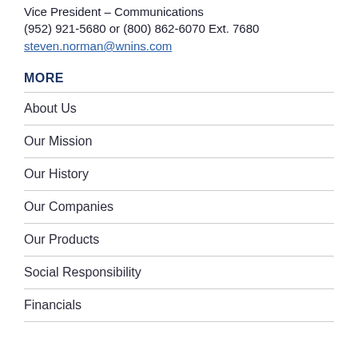Vice President – Communications
(952) 921-5680 or (800) 862-6070 Ext. 7680
steven.norman@wnins.com
MORE
About Us
Our Mission
Our History
Our Companies
Our Products
Social Responsibility
Financials